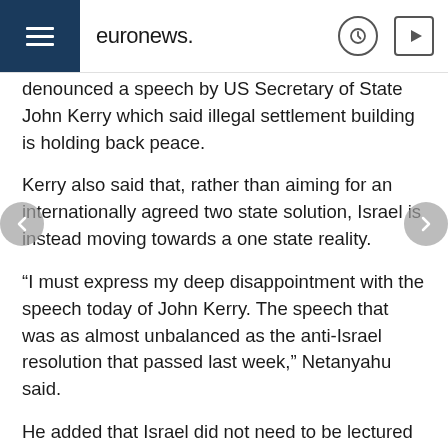euronews.
denounced a speech by US Secretary of State John Kerry which said illegal settlement building is holding back peace.
Kerry also said that, rather than aiming for an internationally agreed two state solution, Israel is instead moving towards a one state reality.
“I must express my deep disappointment with the speech today of John Kerry. The speech that was as almost unbalanced as the anti-Israel resolution that passed last week,” Netanyahu said.
He added that Israel did not need to be lectured to by foreign leaders and looked forward to working with incoming President-elect Donald Trump, who has vowed to pursue more pro-Israeli policies.